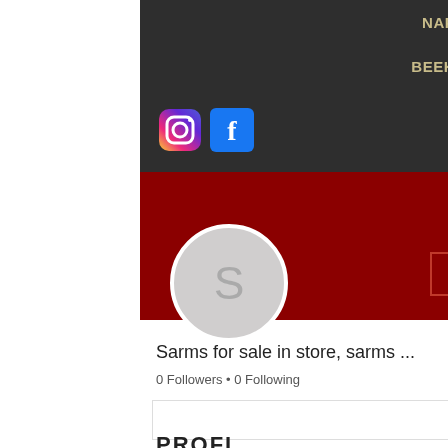NAPA COUNTY BEEKEEPERS ASSOCIATION BEEKEEPERS OF NAPA VALLEY
[Figure (screenshot): Website screenshot showing Napa County Beekeepers Association header with Instagram and Facebook social icons and hamburger menu, dark red banner, user profile avatar with letter S, Follow button, 0 Followers 0 Following stats, and PROFILE section]
Sarms for sale in store, sarms ...
0 Followers • 0 Following
PROFILE